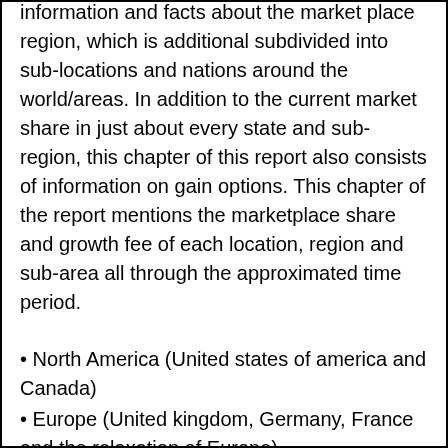information and facts about the market place region, which is additional subdivided into sub-locations and nations around the world/areas. In addition to the current market share in just about every state and sub-region, this chapter of this report also consists of information on gain options. This chapter of the report mentions the marketplace share and growth fee of each location, region and sub-area all through the approximated time period.
• North America (United states of america and Canada)
• Europe (United kingdom, Germany, France and the relaxation of Europe)
• Asia Pacific (China, Japan, India, and the relaxation of the Asia Pacific location)